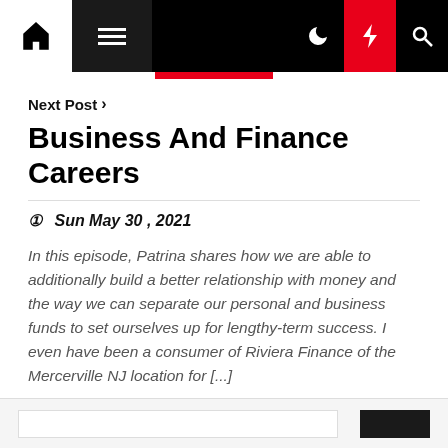[Figure (screenshot): Website navigation bar with home icon, hamburger menu, dark background, moon icon, lightning bolt icon (red background), and search icon]
Next Post ›
Business And Finance Careers
🕐Sun May 30 , 2021
In this episode, Patrina shares how we are able to additionally build a better relationship with money and the way we can separate our personal and business funds to set ourselves up for lengthy-term success. I even have been a consumer of Riviera Finance of the Mercerville NJ location for [...]